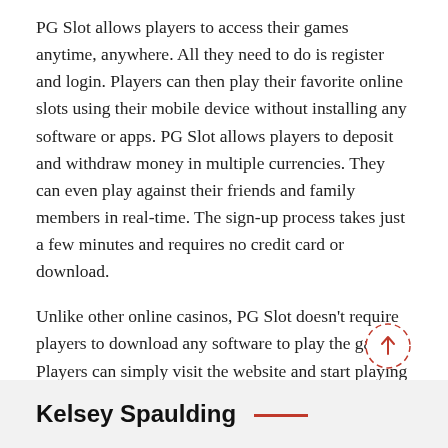PG Slot allows players to access their games anytime, anywhere. All they need to do is register and login. Players can then play their favorite online slots using their mobile device without installing any software or apps. PG Slot allows players to deposit and withdraw money in multiple currencies. They can even play against their friends and family members in real-time. The sign-up process takes just a few minutes and requires no credit card or download.
Unlike other online casinos, PG Slot doesn't require players to download any software to play the games. Players can simply visit the website and start playing right away. In addition, there is no need to worry about minimum deposits or dealing with agents. Players can also play for free to get a feel for the games. PG Slots also offer mobile games that are compatible with all mobile devices.
Kelsey Spaulding